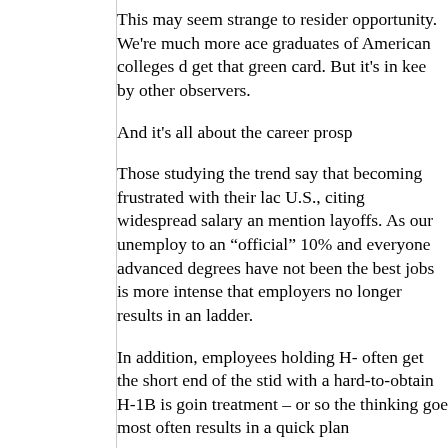This may seem strange to resider opportunity. We're much more ace graduates of American colleges d get that green card. But it's in kee by other observers.
And it's all about the career prosp
Those studying the trend say that becoming frustrated with their lac U.S., citing widespread salary an mention layoffs. As our unemploy to an “official” 10% and everyone advanced degrees have not been the best jobs is more intense that employers no longer results in an ladder.
In addition, employees holding H- often get the short end of the stid with a hard-to-obtain H-1B is goin treatment – or so the thinking goe most often results in a quick plan
But that may not be much of a sw someone’s head as home begins